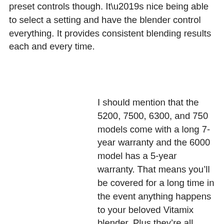preset controls though. It’s nice being able to select a setting and have the blender control everything. It provides consistent blending results each and every time.
I should mention that the 5200, 7500, 6300, and 750 models come with a long 7-year warranty and the 6000 model has a 5-year warranty. That means you’ll be covered for a long time in the event anything happens to your beloved Vitamix blender. Plus they’re all assembled using at least 70% of parts originating from the USA, which is always nice to see. Many other cheaper brands are built in foreign countries, like the majority of other products these days.